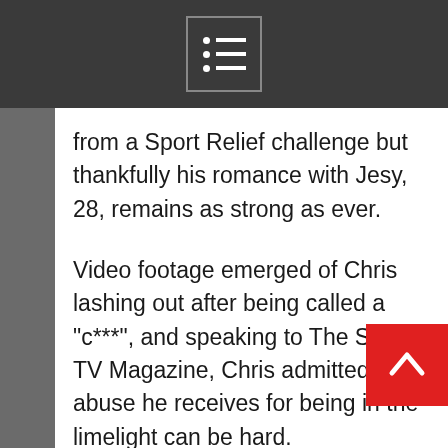from a Sport Relief challenge but thankfully his romance with Jesy, 28, remains as strong as ever.
Video footage emerged of Chris lashing out after being called a "c***", and speaking to The Sun's TV Magazine, Chris admitted the abuse he receives for being in the limelight can be hard.
He said: "We live in a world where people just want to destroy you. It’s a nightmare."
Chris immediately apologised to Jesy for tainting her big night after she tearfully accepted her award for Factual Entertainment Programme on stage.